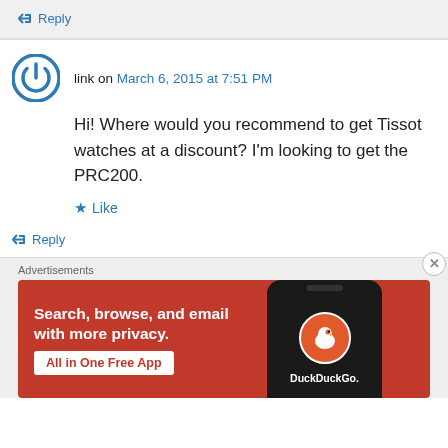↪ Reply
link on March 6, 2015 at 7:51 PM
Hi! Where would you recommend to get Tissot watches at a discount? I'm looking to get the PRC200.
★ Like
↪ Reply
Advertisements
[Figure (screenshot): DuckDuckGo advertisement banner with orange/red background. Text: 'Search, browse, and email with more privacy. All in One Free App'. Shows DuckDuckGo logo and phone image on the right.]